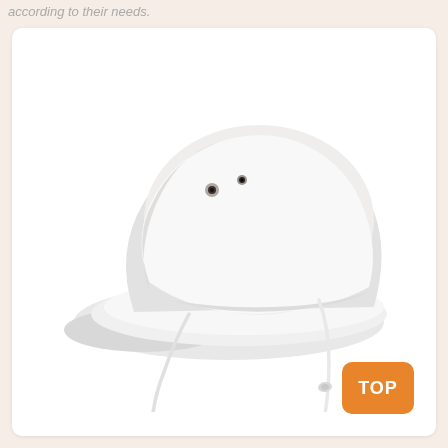according to their needs.
[Figure (photo): A white bucket hat with a chin strap cord and small metal eyelets, shown on a plain white background inside a rounded card.]
TOP